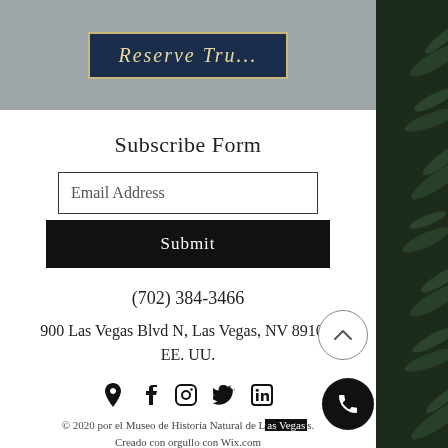[Figure (screenshot): Website header with navy button labeled 'Reserve Tru...' on grey background]
Subscribe Form
Email Address
Submit
(702) 384-3466
900 Las Vegas Blvd N, Las Vegas, NV 89101, EE. UU.
[Figure (infographic): Social media icons: location pin, Facebook, Instagram, Twitter, LinkedIn]
© 2020 por el Museo de Historia Natural de [Las Vegas]s. Creado con orgullo con Wix.com